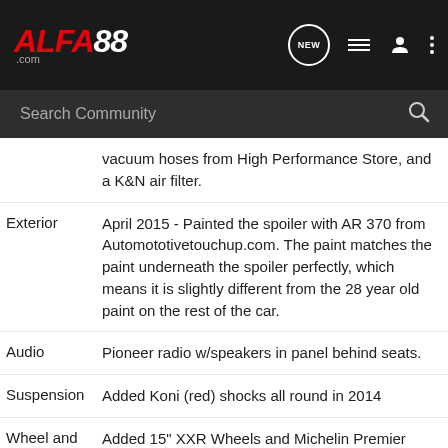ALFA88.com — navigation bar with logo, NEW, list, user, and more icons; Search Community search bar
vacuum hoses from High Performance Store, and a K&N air filter.
Exterior — April 2015 - Painted the spoiler with AR 370 from Automototivetouchup.com. The paint matches the paint underneath the spoiler perfectly, which means it is slightly different from the 28 year old paint on the rest of the car.
Audio — Pioneer radio w/speakers in panel behind seats.
Suspension — Added Koni (red) shocks all round in 2014
Wheel and Tire — Added 15" XXR Wheels and Michelin Premier